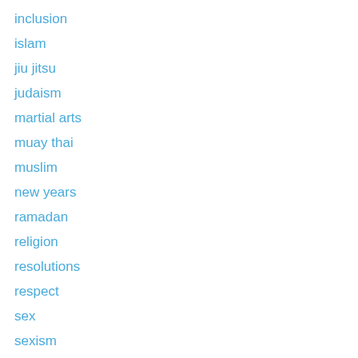inclusion
islam
jiu jitsu
judaism
martial arts
muay thai
muslim
new years
ramadan
religion
resolutions
respect
sex
sexism
sexuality
social networking, selfies
speed
taekwondo
twitter
Uncategorized